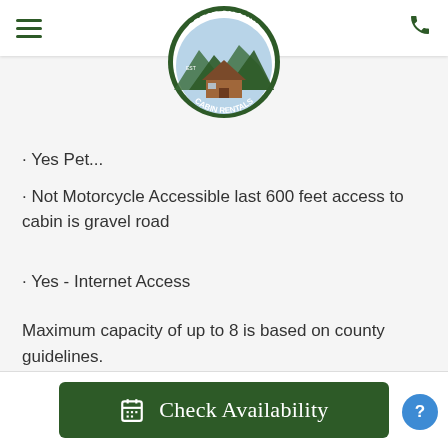Great Smokys Cabin Rentals – navigation header with logo
Yes Pet...
Not Motorcycle Accessible last 600 feet access to cabin is gravel road
Yes - Internet Access
Maximum capacity of up to 8 is based on county guidelines.
Map
Check Availability